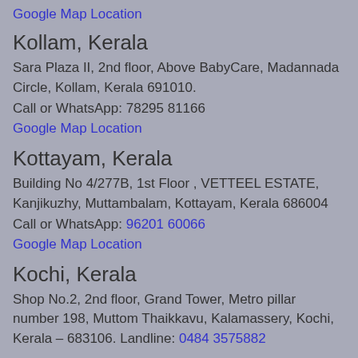Google Map Location
Kollam, Kerala
Sara Plaza II, 2nd floor, Above BabyCare, Madannada Circle, Kollam, Kerala 691010.
Call or WhatsApp: 78295 81166
Google Map Location
Kottayam, Kerala
Building No 4/277B, 1st Floor , VETTEEL ESTATE, Kanjikuzhy, Muttambalam, Kottayam, Kerala 686004
Call or WhatsApp: 96201 60066
Google Map Location
Kochi, Kerala
Shop No.2, 2nd floor, Grand Tower, Metro pillar number 198, Muttom Thaikkavu, Kalamassery, Kochi, Kerala – 683106. Landline: 0484 3575882